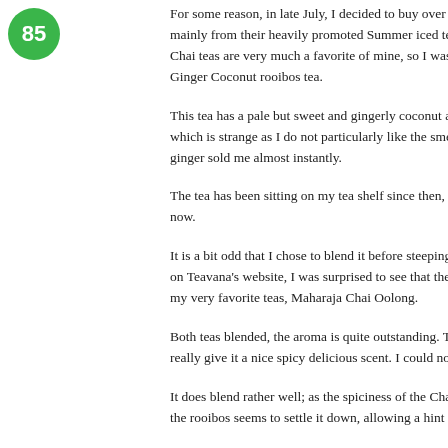[Figure (other): Green circular badge with white number 85]
For some reason, in late July, I decided to buy over mainly from their heavily promoted Summer iced tea Chai teas are very much a favorite of mine, so I was Ginger Coconut rooibos tea.
This tea has a pale but sweet and gingerly coconut a which is strange as I do not particularly like the smel ginger sold me almost instantly.
The tea has been sitting on my tea shelf since then, now.
It is a bit odd that I chose to blend it before steeping on Teavana's website, I was surprised to see that the my very favorite teas, Maharaja Chai Oolong.
Both teas blended, the aroma is quite outstanding. T really give it a nice spicy delicious scent. I could not
It does blend rather well; as the spiciness of the Cha the rooibos seems to settle it down, allowing a hint o